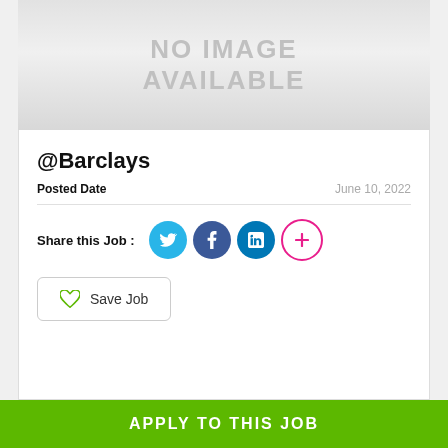[Figure (other): No image available placeholder — grey gradient rectangle with 'NO IMAGE AVAILABLE' text]
@Barclays
Posted Date   June 10, 2022
Share this Job :
Save Job
APPLY TO THIS JOB